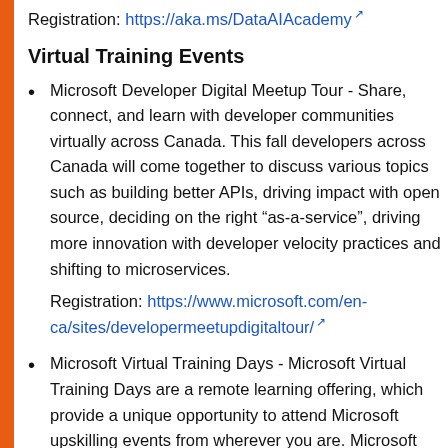Registration: https://aka.ms/DataAIAcademy
Virtual Training Events
Microsoft Developer Digital Meetup Tour - Share, connect, and learn with developer communities virtually across Canada. This fall developers across Canada will come together to discuss various topics such as building better APIs, driving impact with open source, deciding on the right “as-a-service”, driving more innovation with developer velocity practices and shifting to microservices.
Registration: https://www.microsoft.com/en-ca/sites/developermeetupdigitaltour/
Microsoft Virtual Training Days - Microsoft Virtual Training Days are a remote learning offering, which provide a unique opportunity to attend Microsoft upskilling events from wherever you are. Microsoft